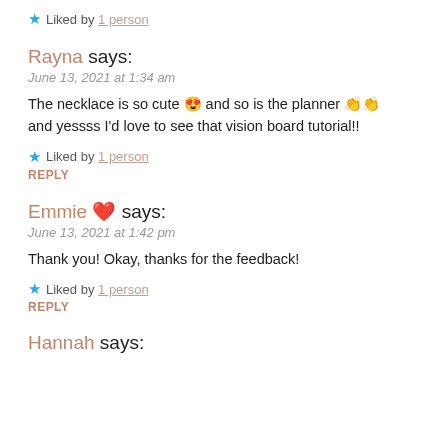★ Liked by 1 person
Rayna says:
June 13, 2021 at 1:34 am
The necklace is so cute 😍 and so is the planner 👏👏 and yessss I'd love to see that vision board tutorial!!
★ Liked by 1 person
REPLY
Emmie ❤️ says:
June 13, 2021 at 1:42 pm
Thank you! Okay, thanks for the feedback!
★ Liked by 1 person
REPLY
Hannah says: